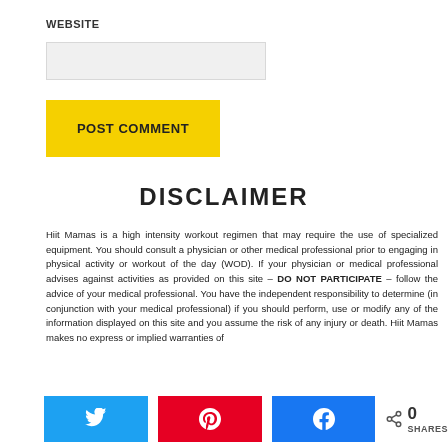WEBSITE
[Figure (other): Website input text field (form element, light gray background)]
POST COMMENT
DISCLAIMER
Hiit Mamas is a high intensity workout regimen that may require the use of specialized equipment. You should consult a physician or other medical professional prior to engaging in physical activity or workout of the day (WOD). If your physician or medical professional advises against activities as provided on this site – DO NOT PARTICIPATE – follow the advice of your medical professional. You have the independent responsibility to determine (in conjunction with your medical professional) if you should perform, use or modify any of the information displayed on this site and you assume the risk of any injury or death. Hiit Mamas makes no express or implied warranties of
[Figure (other): Social share bar with Twitter, Pinterest, Facebook buttons and share count showing 0 SHARES]